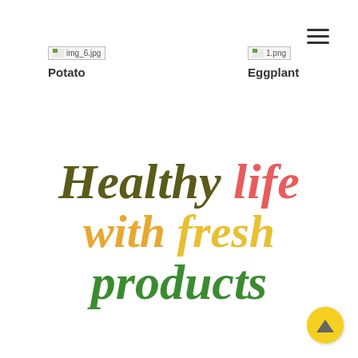[Figure (other): Hamburger menu icon (three horizontal lines) in top right corner]
[Figure (other): Broken image placeholder labeled img_6.jpg with small icon]
Potato
[Figure (other): Broken image placeholder labeled 1.png with small icon]
Eggplant
Healthy life with fresh products
[Figure (other): Yellow circular scroll-to-top button with upward arrow in bottom right corner]